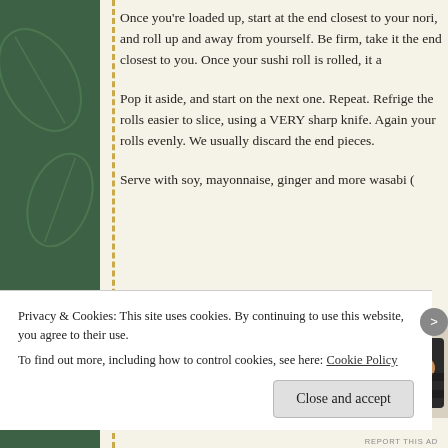Once you're loaded up, start at the end closest to your nori, and roll up and away from yourself. Be firm, take it the end closest to you. Once your sushi roll is rolled, it a
Pop it aside, and start on the next one. Repeat. Refrige the rolls easier to slice, using a VERY sharp knife. Again your rolls evenly. We usually discard the end pieces.
Serve with soy, mayonnaise, ginger and more wasabi (
[Figure (photo): Photo of sushi rolls with pickled ginger and chopsticks on a plate]
Privacy & Cookies: This site uses cookies. By continuing to use this website, you agree to their use.
To find out more, including how to control cookies, see here: Cookie Policy